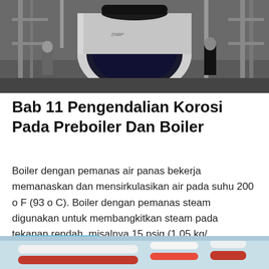[Figure (photo): Industrial boiler in a factory/warehouse setting. A large cylindrical metal boiler with a black dome/umbrella on top is shown on a flatbed or floor, surrounded by scaffolding, pipes, and workers in a grey industrial building.]
Bab 11 Pengendalian Korosi Pada Preboiler Dan Boiler
Boiler dengan pemanas air panas bekerja memanaskan dan mensirkulasikan air pada suhu 200 o F (93 o C). Boiler dengan pemanas steam digunakan untuk membangkitkan steam pada tekanan rendah, misalnya 15 psig (1.05 kg/...
[Figure (photo): Industrial pipes and plumbing in a building, partially visible at the bottom of the page, showing blue and red pipes along a ceiling or wall.]